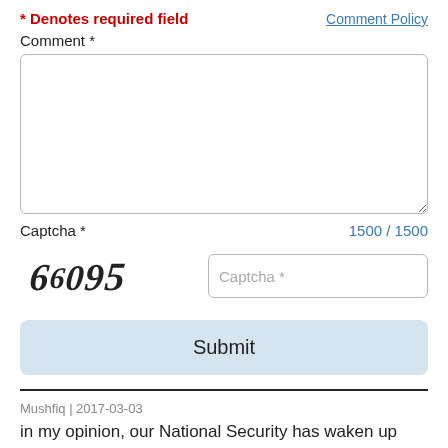* Denotes required field
Comment Policy
Comment *
[Figure (other): Empty comment text area input box]
Captcha *
1500 / 1500
[Figure (other): CAPTCHA image displaying the text '66095' in distorted serif font]
Captcha *
Submit
Mushfiq | 2017-03-03
in my opinion, our National Security has waken up after years and has started destroying Taliban. This can be one of their plans as they announced